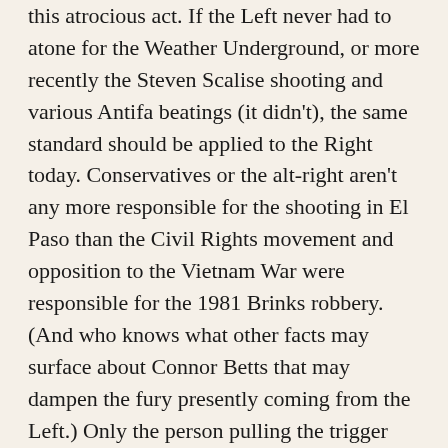this atrocious act. If the Left never had to atone for the Weather Underground, or more recently the Steven Scalise shooting and various Antifa beatings (it didn't), the same standard should be applied to the Right today. Conservatives or the alt-right aren't any more responsible for the shooting in El Paso than the Civil Rights movement and opposition to the Vietnam War were responsible for the 1981 Brinks robbery. (And who knows what other facts may surface about Connor Betts that may dampen the fury presently coming from the Left.) Only the person pulling the trigger should be held accountable for his act. It's not like the Right is behaving like a gang of Hutus.
More importantly, entirely lost in the cacophony of shrieks about #WhiteTerrorism and